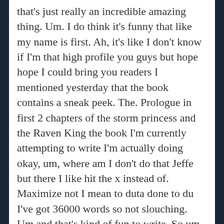that's just really an incredible amazing thing. Um. I do think it's funny that like my name is first. Ah, it's like I don't know if I'm that high profile you guys but hope hope I could bring you readers I mentioned yesterday that the book contains a sneak peek. The. Prologue in first 2 chapters of the storm princess and the Raven King the book I'm currently attempting to write I'm actually doing okay, um, where am I don't do that Jeffe but there I like hit the x instead of. Maximize not I mean to duta done to du I've got 36000 words so not slouching. Um and that's kind of fun to write. So um, on that note I think I will go get to writing. I hope that you all have a fabulous weekend I will be patchy here maybe next week but probably it'll be what it is, what it? I don't it...